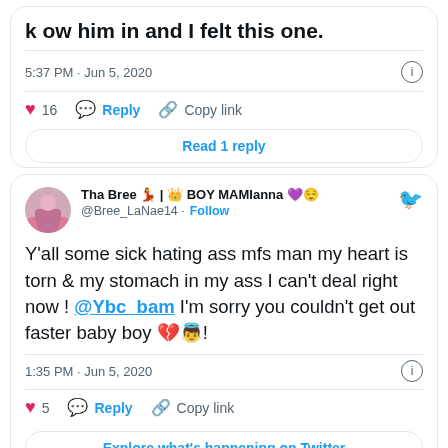k ow him in and I felt this one.
5:37 PM · Jun 5, 2020
16  Reply  Copy link
Read 1 reply
Tha Bree 💃 | 👑 BOY MAMIanna 💜😌 @Bree_LaNae14 · Follow
Y'all some sick hating ass mfs man my heart is torn & my stomach in my ass I can't deal right now ! @Ybc_bam I'm sorry you couldn't get out faster baby boy 💔👼!
1:35 PM · Jun 5, 2020
5  Reply  Copy link
Explore what's happening on Twitter